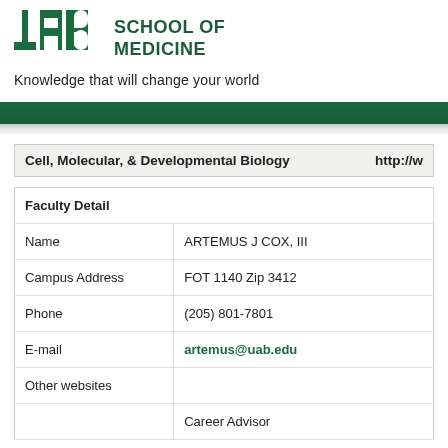[Figure (logo): UAB School of Medicine logo with green block letters UAB and text SCHOOL OF MEDICINE]
Knowledge that will change your world
| Cell, Molecular, & Developmental Biology | http://w... |
| --- | --- |
| Faculty Detail |
| --- |
| Name | ARTEMUS J COX, III |
| Campus Address | FOT 1140 Zip 3412 |
| Phone | (205) 801-7801 |
| E-mail | artemus@uab.edu |
| Other websites |  |
|  | Career Advisor |